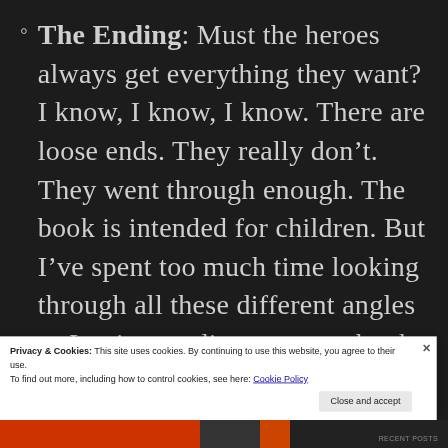The Ending: Must the heroes always get everything they want? I know, I know, I know. There are loose ends. They really don't. They went through enough. The book is intended for children. But I've spent too much time looking through all these different angles as I write, reading so many books where the heroes not only get nothing they want, but barely survive in
Privacy & Cookies: This site uses cookies. By continuing to use this website, you agree to their use.
To find out more, including how to control cookies, see here: Cookie Policy